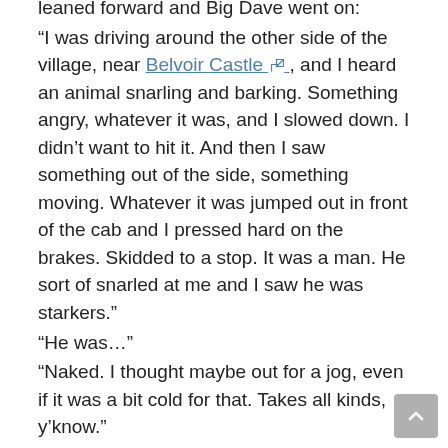leaned forward and Big Dave went on:
“I was driving around the other side of the village, near Belvoir Castle [external link], and I heard an animal snarling and barking. Something angry, whatever it was, and I slowed down. I didn’t want to hit it. And then I saw something out of the side, something moving. Whatever it was jumped out in front of the cab and I pressed hard on the brakes. Skidded to a stop. It was a man. He sort of snarled at me and I saw he was starkers.”
“He was…”
“Naked. I thought maybe out for a jog, even if it was a bit cold for that. Takes all kinds, y’know.”
I remembered Big Dave’s story about the time he was drunk on New Year’s Eve and decided to go for a swim in the Trafalgar Fountain. Fully clothed.
“We just stared at each other,” Big Dave went on, “and then he ran around and jumped in the back of the cab. ‘Drive me into town, please!’ he said, and I started driving. I think all I had was a tea towel but I offered that...